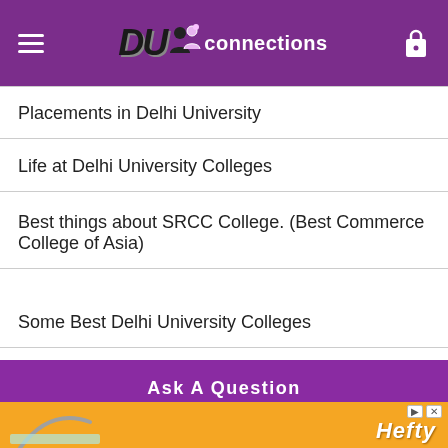DU Connections
Placements in Delhi University
Life at Delhi University Colleges
Best things about SRCC College. (Best Commerce College of Asia)
Some Best Delhi University Colleges
Ask A Question
[Figure (screenshot): Hefty advertisement banner with orange background]